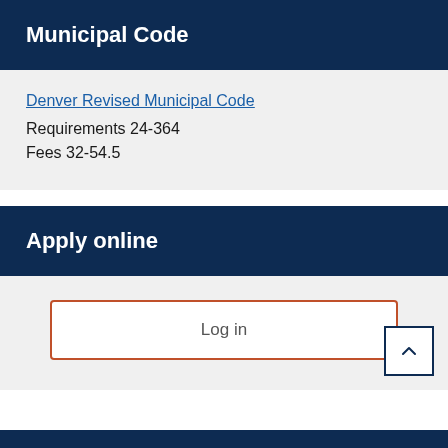Municipal Code
Denver Revised Municipal Code
Requirements 24-364
Fees 32-54.5
Apply online
Log in